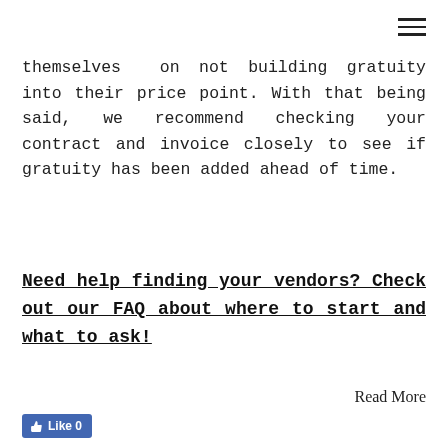themselves  on not building gratuity into their price point. With that being said, we recommend checking your contract and invoice closely to see if gratuity has been added ahead of time.
Need help finding your vendors? Check out our FAQ about where to start and what to ask!
Read More